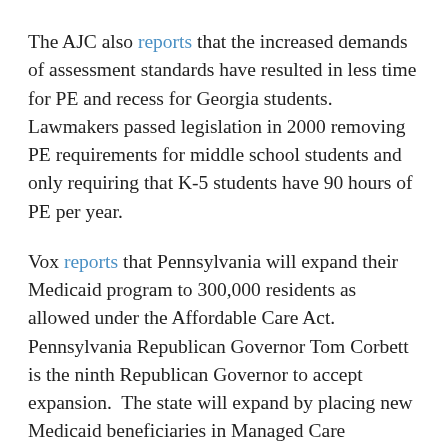The AJC also reports that the increased demands of assessment standards have resulted in less time for PE and recess for Georgia students. Lawmakers passed legislation in 2000 removing PE requirements for middle school students and only requiring that K-5 students have 90 hours of PE per year.
Vox reports that Pennsylvania will expand their Medicaid program to 300,000 residents as allowed under the Affordable Care Act. Pennsylvania Republican Governor Tom Corbett is the ninth Republican Governor to accept expansion.  The state will expand by placing new Medicaid beneficiaries in Managed Care programs, and beneficiaries above the poverty line will be required to pay premiums not exceeding 2% of income.  Tennessee might be next.